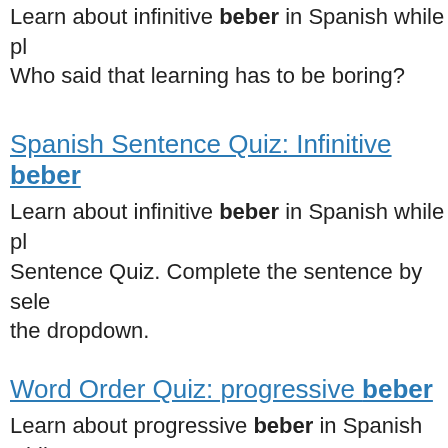Learn about infinitive beber in Spanish while pl Who said that learning has to be boring?
Spanish Sentence Quiz: Infinitive beber
Learn about infinitive beber in Spanish while pl Sentence Quiz. Complete the sentence by sele the dropdown.
Word Order Quiz: progressive beber
Learn about progressive beber in Spanish whil Quiz. Who said that learning has to be boring?
Spanish Sentence Quiz: Progressive beber
Learn about progressive beber in Spanish whil Sentence Quiz. Complete the sentence by sel